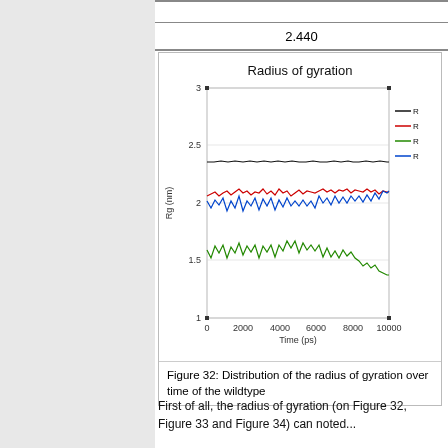|  |
| --- |
|  |
| 2.440 |
[Figure (line-chart): Line chart showing radius of gyration over time (0–10000 ps) for wildtype. Four series: black (~2.37 nm, stable), red (~2.1 nm, slightly rising), blue (~2.05–2.2 nm, noisy), green (~1.5–1.75 nm, declining). Y-axis: 1 to 3, ticks at 1, 1.5, 2, 2.5, 3.]
Figure 32: Distribution of the radius of gyration over time of the wildtype
First of all, the radius of gyration (on Figure 32, Figure 33 and Figure 34) can noted...